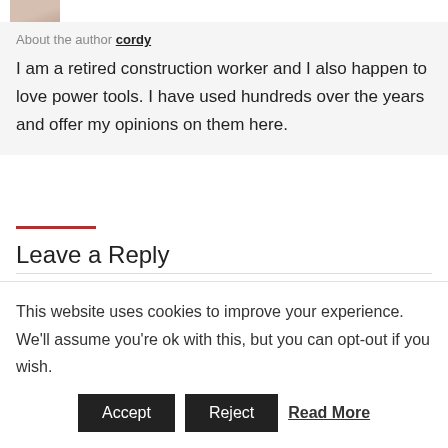[Figure (photo): Partial photo of a person's face/head, cropped at the top of the page]
About the author cordy
I am a retired construction worker and I also happen to love power tools. I have used hundreds over the years and offer my opinions on them here.
Leave a Reply
This website uses cookies to improve your experience. We'll assume you're ok with this, but you can opt-out if you wish.
Accept  Reject  Read More